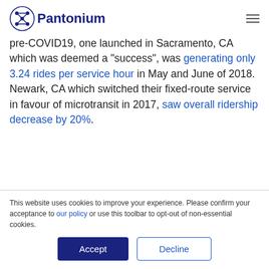Pantonium
pre-COVID19, one launched in Sacramento, CA which was deemed a “success”, was generating only 3.24 rides per service hour in May and June of 2018. Newark, CA which switched their fixed-route service in favour of microtransit in 2017, saw overall ridership decrease by 20%.
This website uses cookies to improve your experience. Please confirm your acceptance to our policy or use this toolbar to opt-out of non-essential cookies.